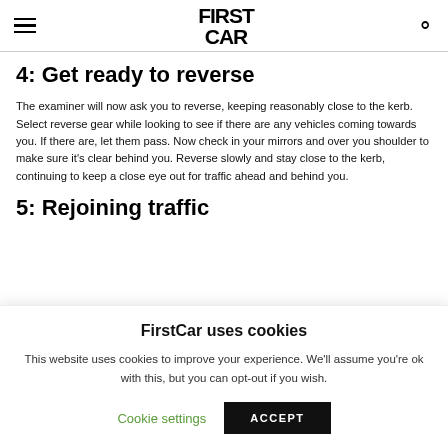FIRSTCAR
4: Get ready to reverse
The examiner will now ask you to reverse, keeping reasonably close to the kerb. Select reverse gear while looking to see if there are any vehicles coming towards you. If there are, let them pass. Now check in your mirrors and over you shoulder to make sure it's clear behind you. Reverse slowly and stay close to the kerb, continuing to keep a close eye out for traffic ahead and behind you.
5: Rejoining traffic
FirstCar uses cookies
This website uses cookies to improve your experience. We'll assume you're ok with this, but you can opt-out if you wish.